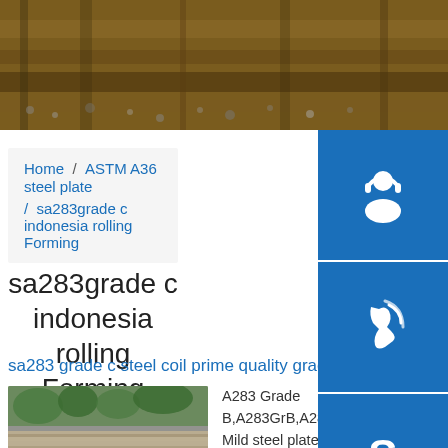[Figure (photo): Hero image showing steel/metal bars or rails with gravel/stones background]
Home / ASTM A36 steel plate / sa283grade c indonesia rolling Forming
sa283grade c indonesia rolling Forming
sa283 grade c steel coil prime quality grade - Carbon ...
[Figure (photo): Steel plate image showing a large flat steel plate outdoors with green vegetation in background]
A283 Grade B,A283GrB,A283GrB PLATE - Mild steel plate . Carbon structural steel plate ASTM A283 Grade B ...